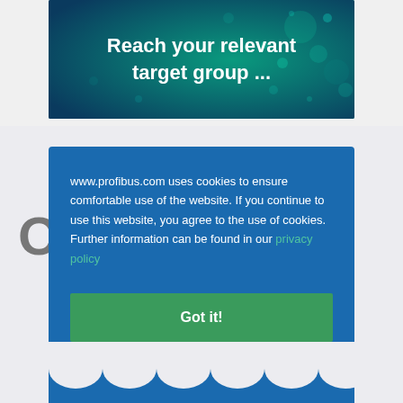[Figure (illustration): Dark teal/blue bokeh background banner image with dots and light effects]
Reach your relevant target group ...
www.profibus.com uses cookies to ensure comfortable use of the website. If you continue to use this website, you agree to the use of cookies. Further information can be found in our privacy policy
Got it!